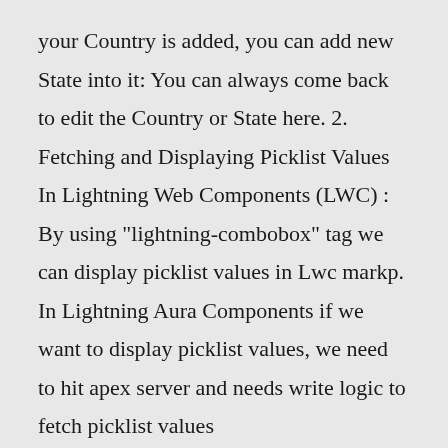your Country is added, you can add new State into it: You can always come back to edit the Country or State here. 2. Fetching and Displaying Picklist Values In Lightning Web Components (LWC) : By using "lightning-combobox" tag we can display picklist values in Lwc markp. In Lightning Aura Components if we want to display picklist values, we need to hit apex server and needs write logic to fetch picklist values